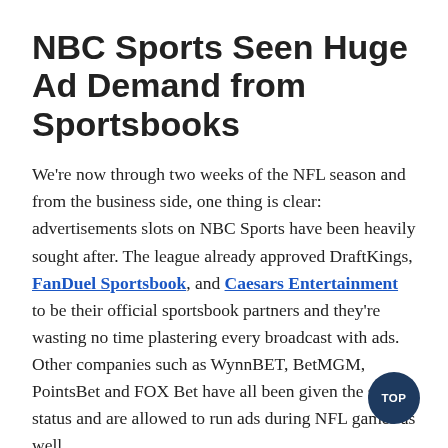NBC Sports Seen Huge Ad Demand from Sportsbooks
We're now through two weeks of the NFL season and from the business side, one thing is clear: advertisements slots on NBC Sports have been heavily sought after. The league already approved DraftKings, FanDuel Sportsbook, and Caesars Entertainment to be their official sportsbook partners and they're wasting no time plastering every broadcast with ads. Other companies such as WynnBET, BetMGM, PointsBet and FOX Bet have all been given the same status and are allowed to run ads during NFL games as well.